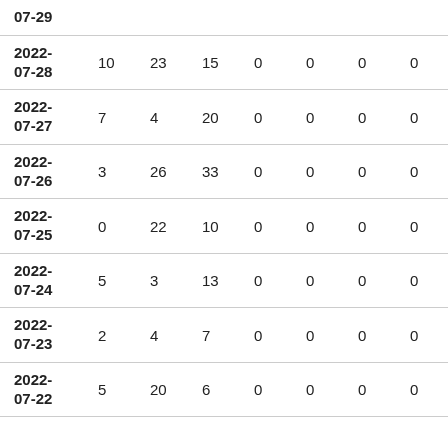| Date | Col1 | Col2 | Col3 | Col4 | Col5 | Col6 | Col7 |
| --- | --- | --- | --- | --- | --- | --- | --- |
| 2022-07-29 |  |  |  |  |  |  |  |
| 2022-07-28 | 10 | 23 | 15 | 0 | 0 | 0 | 0 |
| 2022-07-27 | 7 | 4 | 20 | 0 | 0 | 0 | 0 |
| 2022-07-26 | 3 | 26 | 33 | 0 | 0 | 0 | 0 |
| 2022-07-25 | 0 | 22 | 10 | 0 | 0 | 0 | 0 |
| 2022-07-24 | 5 | 3 | 13 | 0 | 0 | 0 | 0 |
| 2022-07-23 | 2 | 4 | 7 | 0 | 0 | 0 | 0 |
| 2022-07-22 | 5 | 20 | 6 | 0 | 0 | 0 | 0 |